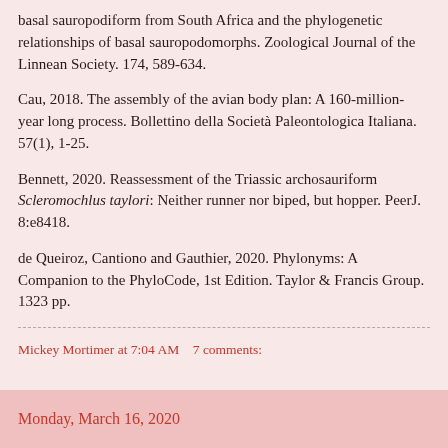basal sauropodiform from South Africa and the phylogenetic relationships of basal sauropodomorphs. Zoological Journal of the Linnean Society. 174, 589-634.
Cau, 2018. The assembly of the avian body plan: A 160-million-year long process. Bollettino della Società Paleontologica Italiana. 57(1), 1-25.
Bennett, 2020. Reassessment of the Triassic archosauriform Scleromochlus taylori: Neither runner nor biped, but hopper. PeerJ. 8:e8418.
de Queiroz, Cantiono and Gauthier, 2020. Phylonyms: A Companion to the PhyloCode, 1st Edition. Taylor & Francis Group. 1323 pp.
Mickey Mortimer at 7:04 AM   7 comments:
Monday, March 16, 2020